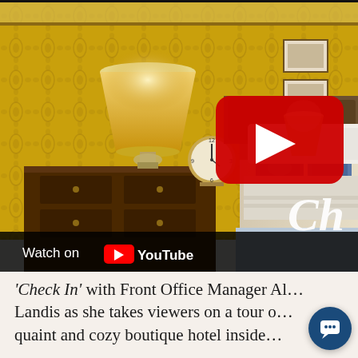[Figure (screenshot): A YouTube video thumbnail showing a luxurious hotel bedroom with ornate gold damask wallpaper, a crystal table lamp, a bedside clock, and a bed with blue and white floral pillows. A red YouTube play button is overlaid in the center-right area. White italic text 'Ch' appears in the bottom-right corner. A 'Watch on YouTube' bar with the YouTube logo appears at the bottom left.]
'Check In' with Front Office Manager Al… Landis as she takes viewers on a tour o… quaint and cozy boutique hotel inside…